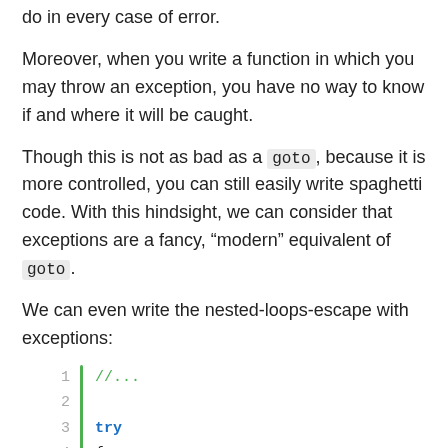do in every case of error.
Moreover, when you write a function in which you may throw an exception, you have no way to know if and where it will be caught.
Though this is not as bad as a goto, because it is more controlled, you can still easily write spaghetti code. With this hindsight, we can consider that exceptions are a fancy, “modern” equivalent of goto.
We can even write the nested-loops-escape with exceptions:
[Figure (screenshot): Code block showing lines 1-5: line 1: //..., line 2: (blank), line 3: try, line 4: {, line 5: for (int i = 0 ; i < size_i ;]